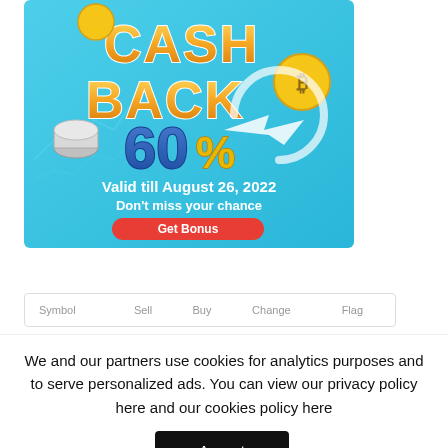[Figure (infographic): Cashback 60% promotional banner with gold 3D text 'CASH BACK', blue '60%' text, Bitcoin coin, silver coin roll, arrow graphic, light blue gradient background with financial chart lines. Text reads 'Valid till August 26, 2022', 'Don't miss your chance', and red 'Get Bonus' button.]
| Symbol | Sell | Buy | Change | Flag |
| --- | --- | --- | --- | --- |
We and our partners use cookies for analytics purposes and to serve personalized ads. You can view our privacy policy here and our cookies policy here